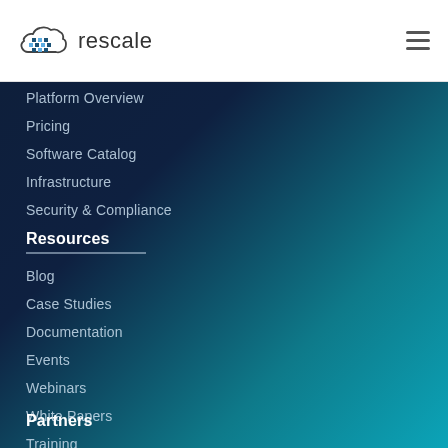[Figure (logo): Rescale cloud logo with pixelated cloud icon and 'rescale' wordmark]
Platform Overview
Pricing
Software Catalog
Infrastructure
Security & Compliance
Resources
Blog
Case Studies
Documentation
Events
Webinars
White Papers
Training
Partners